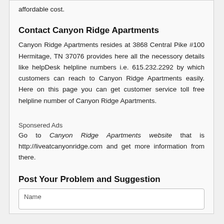affordable cost.
Contact Canyon Ridge Apartments
Canyon Ridge Apartments resides at 3868 Central Pike #100 Hermitage, TN 37076 provides here all the necessory details like helpDesk helpline numbers i.e. 615.232.2292 by which customers can reach to Canyon Ridge Apartments easily. Here on this page you can get customer service toll free helpline number of Canyon Ridge Apartments.
Sponsered Ads
Go to Canyon Ridge Apartments website that is http://liveatcanyonridge.com and get more information from there.
Post Your Problem and Suggestion
Name